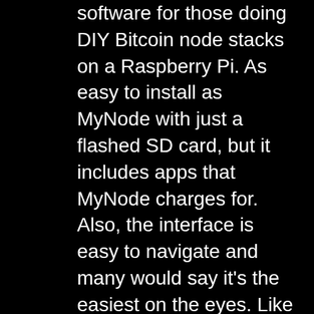software for those doing DIY Bitcoin node stacks on a Raspberry Pi. As easy to install as MyNode with just a flashed SD card, but it includes apps that MyNode charges for. Also, the interface is easy to navigate and many would say it's the easiest on the eyes. Like MyNode, they also offer software to install on an AMD64 computer.
RoninDojo – Also installs with a flashed SD card, but a little more involved throughout the install process. RoninDojo does not offer Lightning and I would not bet on them adding it anytime soon. This